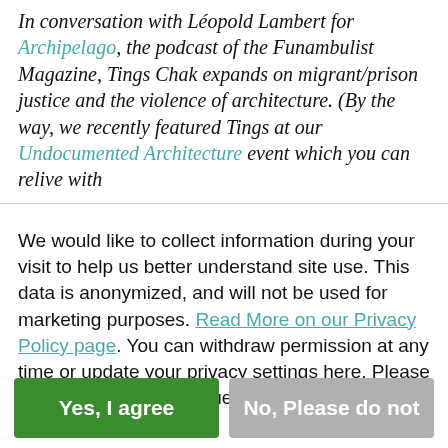In conversation with Léopold Lambert for Archipelago, the podcast of the Funambulist Magazine, Tings Chak expands on migrant/prison justice and the violence of architecture. (By the way, we recently featured Tings at our Undocumented Architecture event which you can relive with
We would like to collect information during your visit to help us better understand site use. This data is anonymized, and will not be used for marketing purposes. Read More on our Privacy Policy page. You can withdraw permission at any time or update your privacy settings here. Please choose below to continue.
Yes, I agree
No, Please do not